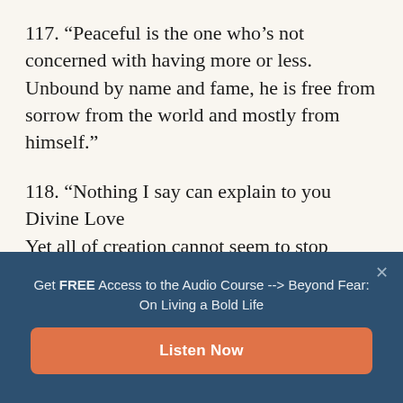117. “Peaceful is the one who’s not concerned with having more or less. Unbound by name and fame, he is free from sorrow from the world and mostly from himself.”
118. “Nothing I say can explain to you Divine Love
Yet all of creation cannot seem to stop
Get FREE Access to the Audio Course --> Beyond Fear: On Living a Bold Life
Listen Now